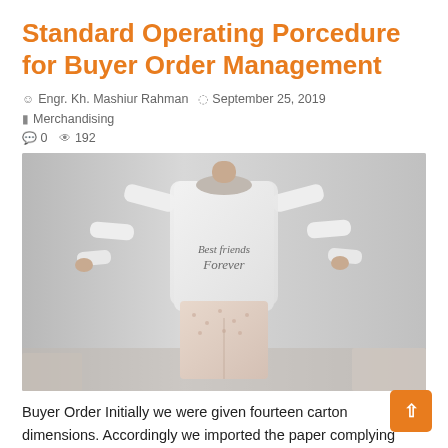Standard Operating Porcedure for Buyer Order Management
Engr. Kh. Mashiur Rahman   September 25, 2019   Merchandising   0   192
[Figure (photo): Photo of a mannequin wearing a white long-sleeve shirt with 'Best friends Forever' script text on the chest, paired with light pink patterned pants, displayed against a light grey background.]
Buyer Order Initially we were given fourteen carton dimensions. Accordingly we imported the paper complying those dimensions to avoid high wastages. But we are receiving buyer order in of cartons